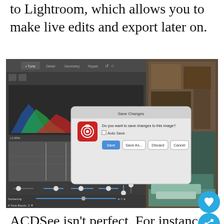to Lightroom, which allows you to make live edits and export later on.
[Figure (screenshot): ACDSee photo editing software interface showing Tune/Detail/Geometry/Repair tabs, histogram, sliders, Color EQ panel, with a 'Save Changes' dialog box asking 'Do you want to save changes to this image?' with Auto Save checkbox and Save, Save As..., Discard, Cancel buttons. Background shows a rocky coastline photo.]
ACDSee isn't perfect. For instance, it doesn't have an autosave feature. Even the slight changes need saving as a completely new